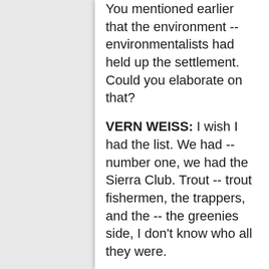You mentioned earlier that the environment -- environmentalists had held up the settlement. Could you elaborate on that?
VERN WEISS: I wish I had the list. We had -- number one, we had the Sierra Club. Trout -- trout fishermen, the trappers, and the -- the greenies side, I don't know who all they were.